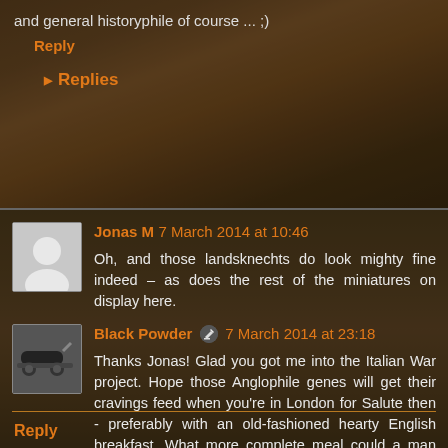and general historyphile of course ... ;)
Reply
Replies
Jonas M 7 March 2014 at 10:46
Oh, and those landsknechts do look mighty fine indeed – as does the rest of the miniatures on display here.
Black Powder 7 March 2014 at 23:18
Thanks Jonas! Glad you got me into the Italian War project. Hope those Anglophile genes will get their cravings feed when you're in London for Salute then - preferably with an old-fashioned hearty English breakfast. What more complete meal could a man want for in the morning, right?
Reply